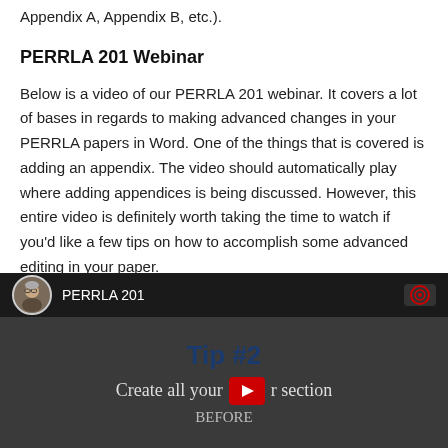Appendix A, Appendix B, etc.).
PERRLA 201 Webinar
Below is a video of our PERRLA 201 webinar. It covers a lot of bases in regards to making advanced changes in your PERRLA papers in Word. One of the things that is covered is adding an appendix. The video should automatically play where adding appendices is being discussed. However, this entire video is definitely worth taking the time to watch if you'd like a few tips on how to accomplish some advanced editing in your paper.
[Figure (screenshot): YouTube video thumbnail showing PERRLA 201 webinar with title bar showing avatar of presenter and text 'PERRLA 201', main content showing 'Tip #2' in bold dark blue and text 'Create all your [sections] BEFORE' with a red YouTube play button icon visible.]